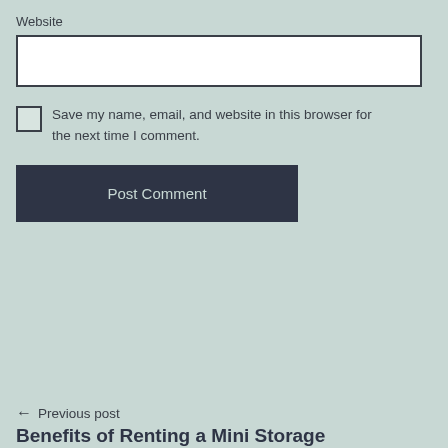Website
[Figure (other): Empty website text input field with white background and dark border]
Save my name, email, and website in this browser for the next time I comment.
[Figure (other): Post Comment button with dark navy background]
← Previous post
Benefits of Renting a Mini Storage